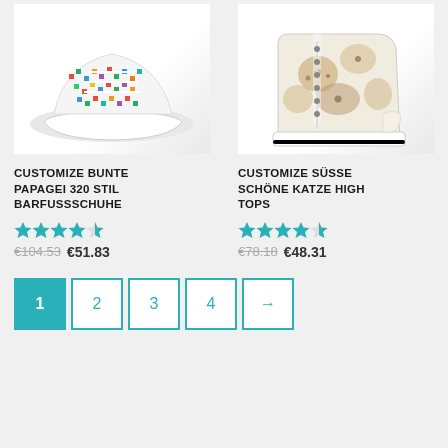[Figure (photo): Colorful parrot-patterned sneaker shoe on white background]
[Figure (photo): High-top sneaker with cute cat print on white background]
CUSTOMIZE BUNTE PAPAGEI 320 STIL BARFUSSSCHUHE
CUSTOMIZE SÜSSE SCHÖNE KATZE HIGH TOPS
★★★★☆ (4.5 stars)
€104.53 €51.83
★★★★☆ (4.5 stars)
€78.18 €48.31
1
2
3
4
→